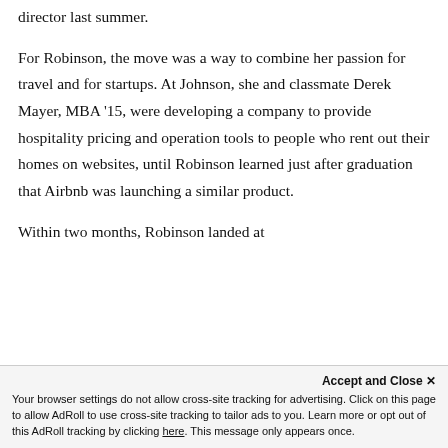director last summer.
For Robinson, the move was a way to combine her passion for travel and for startups. At Johnson, she and classmate Derek Mayer, MBA '15, were developing a company to provide hospitality pricing and operation tools to people who rent out their homes on websites, until Robinson learned just after graduation that Airbnb was launching a similar product.
Within two months, Robinson landed at
Your browser settings do not allow cross-site tracking for advertising. Click on this page to allow AdRoll to use cross-site tracking to tailor ads to you. Learn more or opt out of this AdRoll tracking by clicking here. This message only appears once.